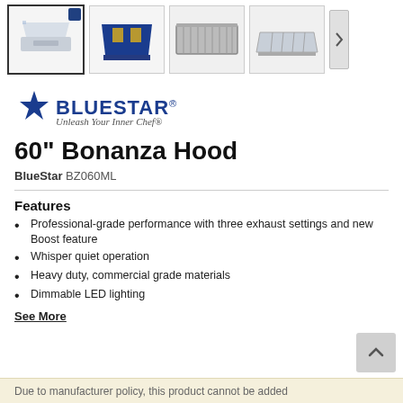[Figure (screenshot): Row of four product thumbnail images for the BlueStar 60 inch Bonanza Hood, showing different angles. First thumbnail is selected (bold border). A navigation arrow is visible on the right.]
[Figure (logo): BlueStar logo with blue star icon and text 'BLUESTAR' in bold dark blue, with tagline 'Unleash Your Inner Chef' below in italic.]
60" Bonanza Hood
BlueStar BZ060ML
Features
Professional-grade performance with three exhaust settings and new Boost feature
Whisper quiet operation
Heavy duty, commercial grade materials
Dimmable LED lighting
See More
Due to manufacturer policy, this product cannot be added